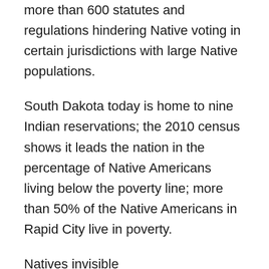more than 600 statutes and regulations hindering Native voting in certain jurisdictions with large Native populations.
South Dakota today is home to nine Indian reservations; the 2010 census shows it leads the nation in the percentage of Native Americans living below the poverty line; more than 50% of the Native Americans in Rapid City live in poverty.
Natives invisible
The First Nations Development Institute